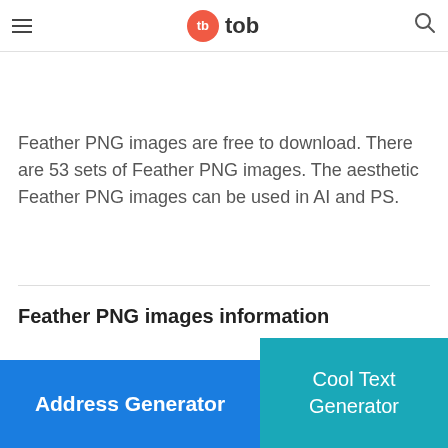tb tob
Feather PNG images are free to download. There are 53 sets of Feather PNG images. The aesthetic Feather PNG images can be used in AI and PS.
Feather PNG images information
1. Total: 53 P+
2. Copyright: Pngimg.com
4. Update: 2019-02-27
[Figure (infographic): Blue banner at bottom-left reading 'Address Generator']
[Figure (infographic): Teal banner at bottom-right reading 'Cool Text Generator']